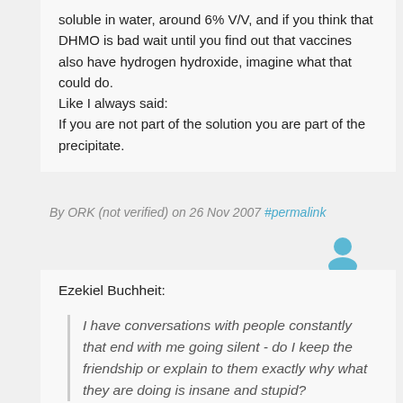soluble in water, around 6% V/V, and if you think that DHMO is bad wait until you find out that vaccines also have hydrogen hydroxide, imagine what that could do.
Like I always said:
If you are not part of the solution you are part of the precipitate.
By ORK (not verified) on 26 Nov 2007 #permalink
[Figure (illustration): User avatar icon in teal/blue color]
Ezekiel Buchheit:
I have conversations with people constantly that end with me going silent - do I keep the friendship or explain to them exactly why what they are doing is insane and stupid?